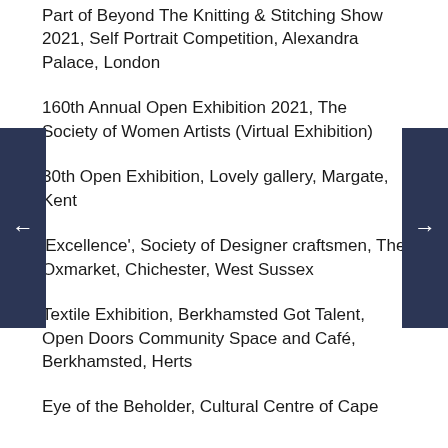Part of Beyond The Knitting & Stitching Show 2021, Self Portrait Competition, Alexandra Palace, London
160th Annual Open Exhibition 2021, The Society of Women Artists (Virtual Exhibition)
30th Open Exhibition, Lovely gallery, Margate, Kent
'Excellence', Society of Designer craftsmen, The Oxmarket, Chichester, West Sussex
Textile Exhibition, Berkhamsted Got Talent, Open Doors Community Space and Café, Berkhamsted, Herts
Eye of the Beholder, Cultural Centre of Cape…